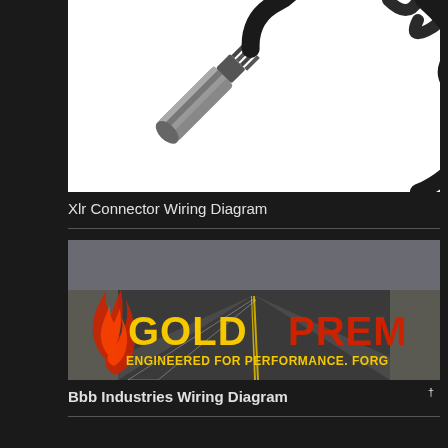[Figure (illustration): XLR audio cable connector with spiral/coiled black cable, white background]
Xlr Connector Wiring Diagram
[Figure (photo): Gold Premium auto parts brand logo on a road perspective background, with text GOLDPREM and ENGINEERED FOR PERFORMANCE. FORG in yellow and red lettering, flame logo on left]
Bbb Industries Wiring Diagram